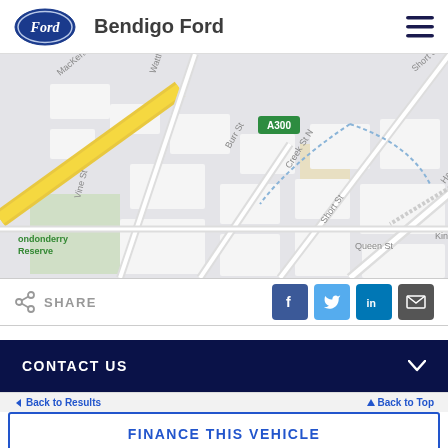Bendigo Ford
[Figure (map): Street map of Bendigo area showing MacKenzie, Wattle St, Vine St, Burr St, Creek St N, Short St, A300, Bath Ln, Hargreaves St, Mitchell St, Queen St, Londonderry Reserve]
SHARE
CONTACT US
Back to Results
Back to Top
FINANCE THIS VEHICLE